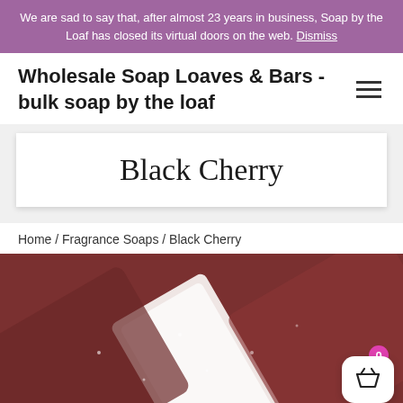We are sad to say that, after almost 23 years in business, Soap by the Loaf has closed its virtual doors on the web. Dismiss
Wholesale Soap Loaves & Bars - bulk soap by the loaf
Black Cherry
Home / Fragrance Soaps / Black Cherry
[Figure (photo): Close-up photograph of dark reddish-brown soap bars (Black Cherry fragrance), with a white soap bar in the center, appearing wet or freshly cut.]